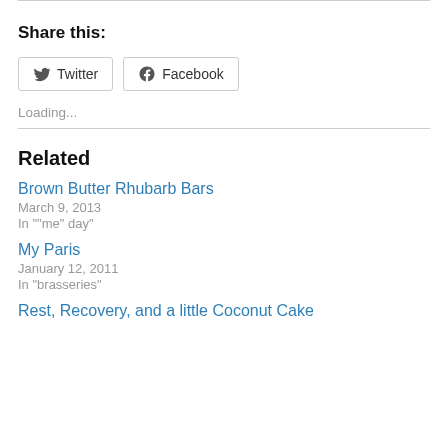Share this:
[Figure (other): Twitter and Facebook share buttons]
Loading...
Related
Brown Butter Rhubarb Bars
March 9, 2013
In ""me" day"
My Paris
January 12, 2011
In "brasseries"
Rest, Recovery, and a little Coconut Cake